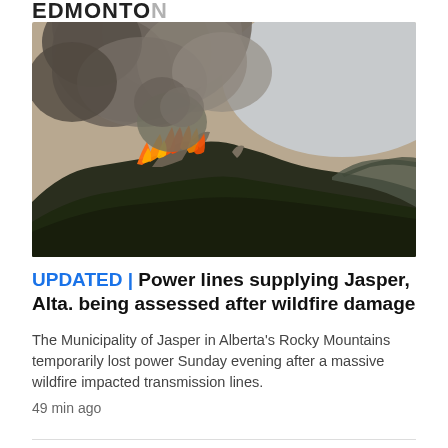EDMONTON
[Figure (photo): Aerial photograph of a massive wildfire burning on a forested mountain ridge, with large orange flames and thick billowing smoke rising into a hazy sky over rocky mountain terrain.]
UPDATED | Power lines supplying Jasper, Alta. being assessed after wildfire damage
The Municipality of Jasper in Alberta's Rocky Mountains temporarily lost power Sunday evening after a massive wildfire impacted transmission lines.
49 min ago